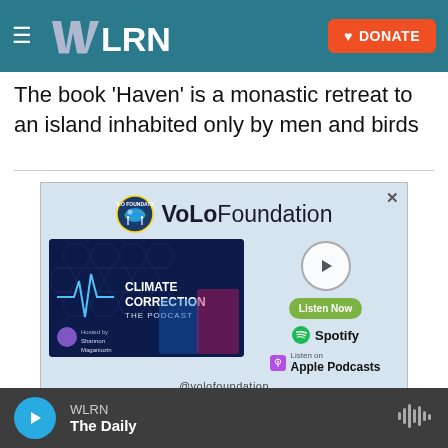WLRN — DONATE
The book 'Haven' is a monastic retreat to an island inhabited only by men and birds
[Figure (infographic): VoLo Foundation advertisement featuring Climate Correction The Podcast with hosts, a play button, Listen Now button, Spotify and Apple Podcasts logos, @volofoundation social media handles and icons.]
WLRN — The Daily